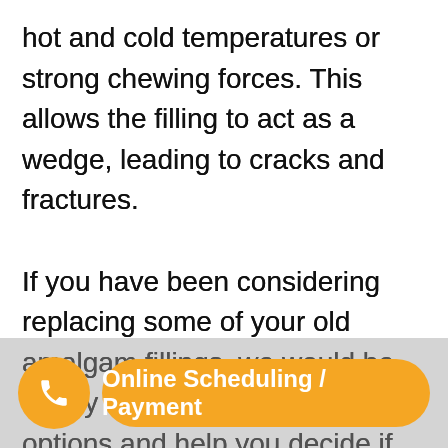hot and cold temperatures or strong chewing forces. This allows the filling to act as a wedge, leading to cracks and fractures.

If you have been considering replacing some of your old amalgam fillings, we would be happy to discuss your treatment options and help you decide if removing them is right for you. We strive to offer you the most exceptional care possible. Because of this, we exclusively use composite materials for fillings in our practice. For additional information, Dentistry at any of our locations to find out